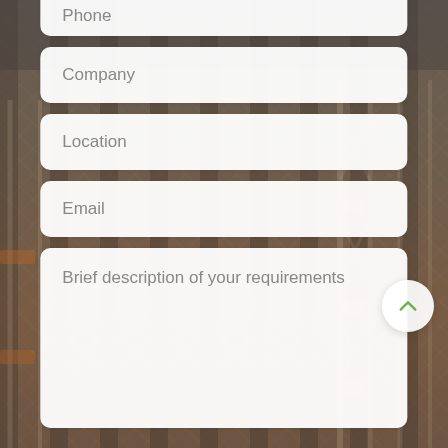[Figure (screenshot): Warehouse contact form page with fields for Phone (partially visible at top), Company, Location, Email, and Brief description of your requirements, overlaid on a warehouse racking background]
Phone
Company
Location
Email
Brief description of your requirements